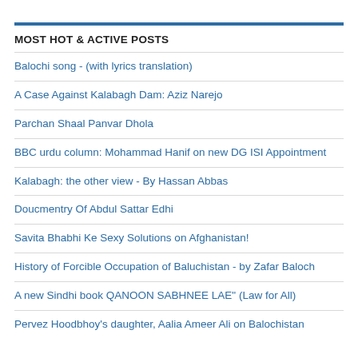MOST HOT & ACTIVE POSTS
Balochi song - (with lyrics translation)
A Case Against Kalabagh Dam: Aziz Narejo
Parchan Shaal Panvar Dhola
BBC urdu column: Mohammad Hanif on new DG ISI Appointment
Kalabagh: the other view - By Hassan Abbas
Doucmentry Of Abdul Sattar Edhi
Savita Bhabhi Ke Sexy Solutions on Afghanistan!
History of Forcible Occupation of Baluchistan - by Zafar Baloch
A new Sindhi book QANOON SABHNEE LAE" (Law for All)
Pervez Hoodbhoy's daughter, Aalia Ameer Ali on Balochistan